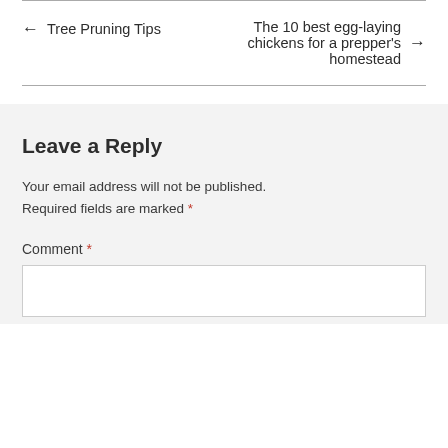← Tree Pruning Tips
The 10 best egg-laying chickens for a prepper's homestead →
Leave a Reply
Your email address will not be published. Required fields are marked *
Comment *